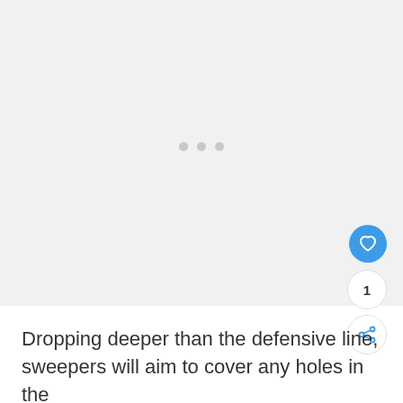[Figure (other): Light gray image placeholder area with three small gray dots centered in the middle, indicating a loading or carousel image. A blue circular like/heart button, a white circular count button showing '1', and a white circular share button are overlaid in the bottom-right corner.]
Dropping deeper than the defensive line, sweepers will aim to cover any holes in the